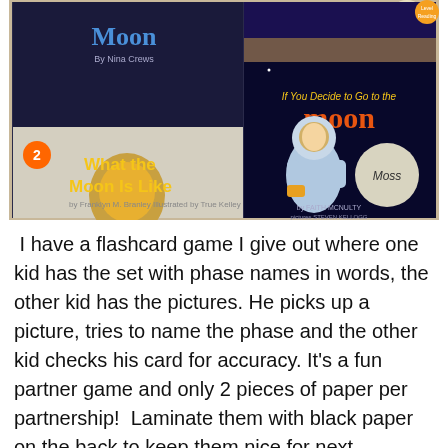[Figure (photo): A photograph of several children's books about the Moon arranged together. Visible titles include 'Moon' by Nina Crew, 'What the Moon Is Like' by Franklyn M. Branley illustrated by True Kelley, and 'If You Decide to Go to the Moon' by Faith McNulty illustrated by Steven Kellogg. One book has 'Moss' written on it.]
I have a flashcard game I give out where one kid has the set with phase names in words, the other kid has the pictures. He picks up a picture, tries to name the phase and the other kid checks his card for accuracy. It's a fun partner game and only 2 pieces of paper per partnership!  Laminate them with black paper on the back to keep them nice for next